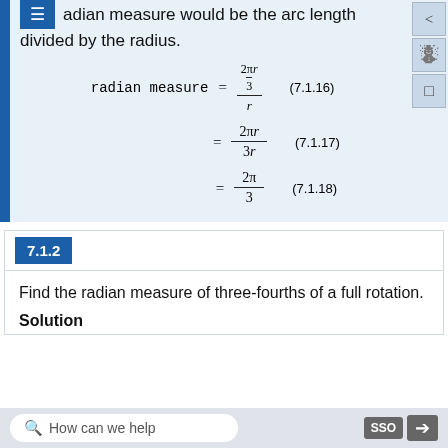radian measure would be the arc length divided by the radius.
7.1.2
Find the radian measure of three-fourths of a full rotation.
Solution